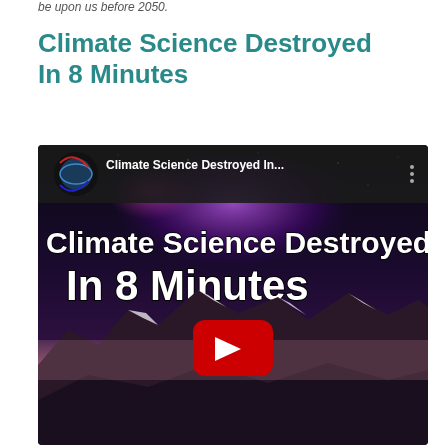be upon us before 2050.
Climate Science Destroyed In 8 Minutes
[Figure (screenshot): YouTube video thumbnail for 'Climate Science Destroyed In 8 Minutes' showing text overlay on a cosmic/mountain landscape background with a YouTube play button in the center. The video header shows a channel logo (earth with magnetic field lines in red and blue) and the title 'Climate Science Destroyed In...' with a three-dot menu icon.]